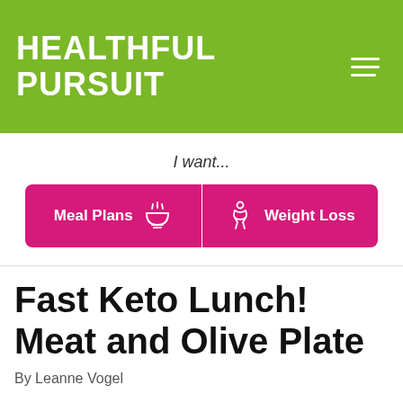HEALTHFUL PURSUIT
I want...
Meal Plans | Weight Loss
Fast Keto Lunch! Meat and Olive Plate
By Leanne Vogel